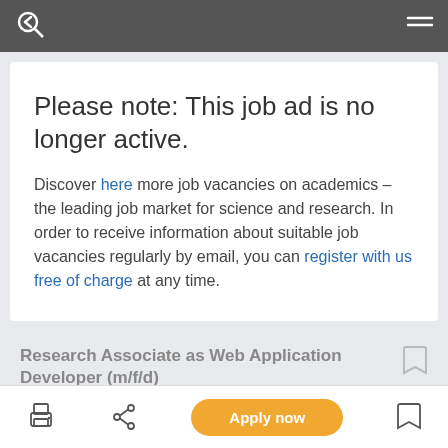Please note: This job ad is no longer active.
Discover here more job vacancies on academics – the leading job market for science and research. In order to receive information about suitable job vacancies regularly by email, you can register with us free of charge at any time.
Research Associate as Web Application Developer (m/f/d)
Apply now